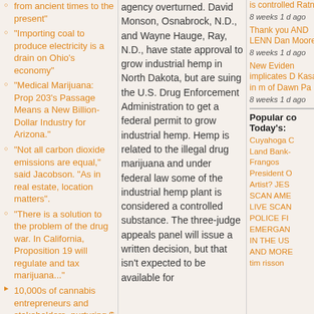from ancient times to the present"
"Importing coal to produce electricity is a drain on Ohio's economy"
"Medical Marijuana: Prop 203's Passage Means a New Billion-Dollar Industry for Arizona."
"Not all carbon dioxide emissions are equal," said Jacobson. "As in real estate, location matters".
"There is a solution to the problem of the drug war. In California, Proposition 19 will regulate and tax marijuana..."
10,000s of cannabis entrepreneurs and stakeholders, nurturing $ billions in new GREEN, taxable economic opportunity for America
A smart guy like
agency overturned. David Monson, Osnabrock, N.D., and Wayne Hauge, Ray, N.D., have state approval to grow industrial hemp in North Dakota, but are suing the U.S. Drug Enforcement Administration to get a federal permit to grow industrial hemp. Hemp is related to the illegal drug marijuana and under federal law some of the industrial hemp plant is considered a controlled substance. The three-judge appeals panel will issue a written decision, but that isn't expected to be available for
is controlled Ratners
8 weeks 1 ago
Thank you AND LENN Dan Moore
8 weeks 1 ago
New Evider implicates D Kasaris in m of Dawn Pa
8 weeks 1 ago
Popular co Today's:
Cuyahoga C Land Bank- Frangos
President O Artist? JES SCAN AME LIVE SCAN POLICE FI EMERGAN IN THE US AND MORE
tim risson